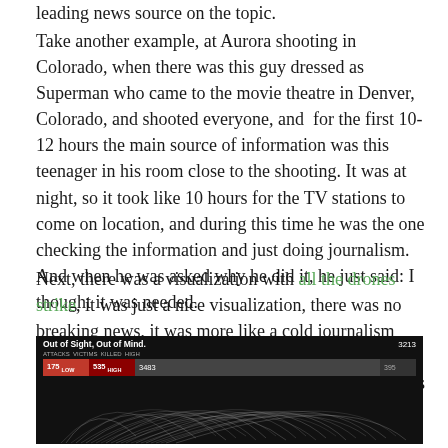leading news source on the topic.
Take another example, at Aurora shooting in Colorado, when there was this guy dressed as Superman who came to the movie theatre in Denver, Colorado, and shooted everyone, and for the first 10-12 hours the main source of information was this teenager in his room close to the shooting. It was at night, so it took like 10 hours for the TV stations to come on location, and during this time he was the one checking the information and just doing journalism. And when he was asked why he did it, he just said: I thought it was needed.
Next, there was a visualization with all the drones strike, it was just a nice visualization, there was no breaking news, it was more like a cold journalism thing. But it became extremely successful, and again, the reason behind it, as the author said – this story has not been told, I though it needs to be told.
[Figure (screenshot): Screenshot of 'Out of Sight, Out of Mind' drone strike visualization with dark background and white arc lines, showing stats like 3213 and red/gray bars with values 175, 535, 3483.]